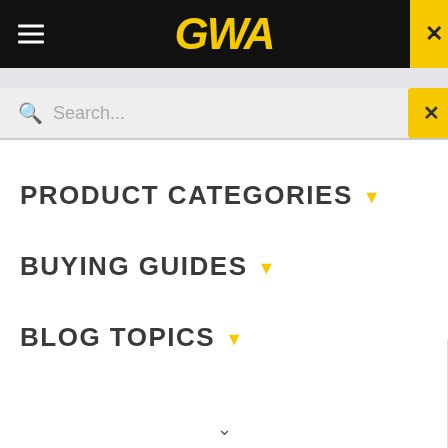GWA
Search...
PRODUCT CATEGORIES
BUYING GUIDES
BLOG TOPICS